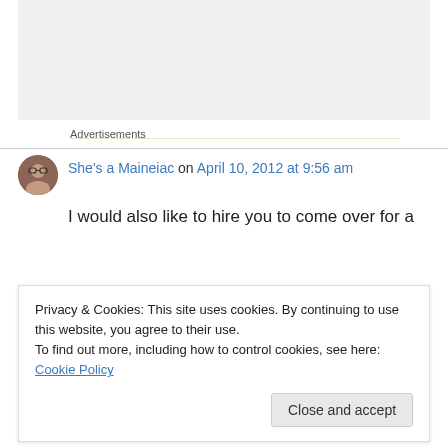[Figure (other): Gray advertisement placeholder box]
Advertisements
She's a Maineiac on April 10, 2012 at 9:56 am
I would also like to hire you to come over for a
Privacy & Cookies: This site uses cookies. By continuing to use this website, you agree to their use.
To find out more, including how to control cookies, see here: Cookie Policy
Close and accept
husband to pick up his dirty laundry quicker